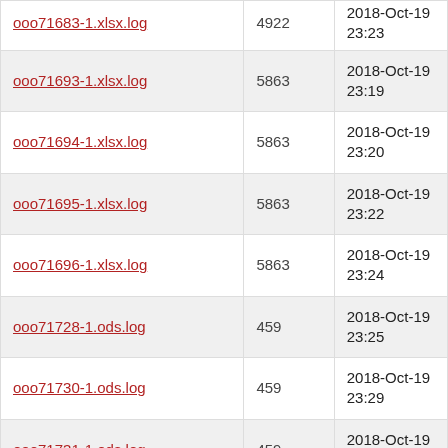| Filename | Size | Date |
| --- | --- | --- |
| ooo71683-1.xlsx.log | 4922 | 2018-Oct-19 23:23 |
| ooo71693-1.xlsx.log | 5863 | 2018-Oct-19 23:19 |
| ooo71694-1.xlsx.log | 5863 | 2018-Oct-19 23:20 |
| ooo71695-1.xlsx.log | 5863 | 2018-Oct-19 23:22 |
| ooo71696-1.xlsx.log | 5863 | 2018-Oct-19 23:24 |
| ooo71728-1.ods.log | 459 | 2018-Oct-19 23:25 |
| ooo71730-1.ods.log | 459 | 2018-Oct-19 23:29 |
| ooo71731-1.ods.log | 459 | 2018-Oct-19 23:15 |
| ooo71733-1.ods.log | 459 | 2018-Oct-20 00:18 |
| ooo71734-1.xlsx.log | 4791 | 2018-Oct-20 00:02 |
| ooo71737-1.xlsx.log | 4783 | 2018-Oct-19 23:18 |